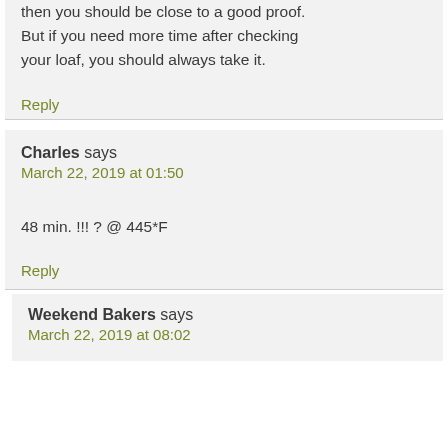then you should be close to a good proof. But if you need more time after checking your loaf, you should always take it.
Reply
Charles says
March 22, 2019 at 01:50
48 min. !!! ? @ 445*F
Reply
Weekend Bakers says
March 22, 2019 at 08:02